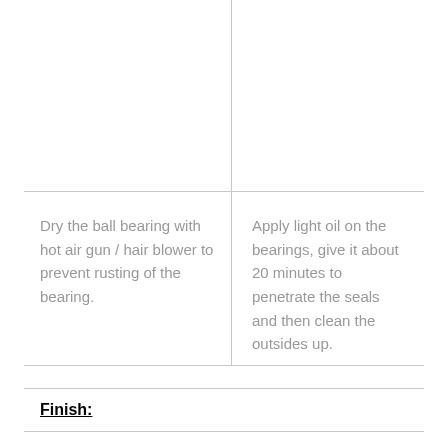[Figure (photo): Top-left image cell (blank/image area)]
[Figure (photo): Top-right image cell (blank/image area)]
Dry the ball bearing with hot air gun / hair blower to prevent rusting of the bearing.
Apply light oil on the bearings, give it about 20 minutes to penetrate the seals and then clean the outsides up.
Finish:
[Figure (photo): Bottom image cell (blank/image area)]